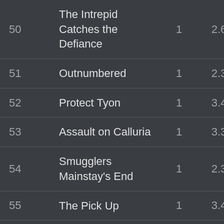| # | Name | Col3 | Col4 | Col5 |
| --- | --- | --- | --- | --- |
| 50 | The Intrepid Catches the Defiance | 1 | 2.6 | 92 |
| 51 | Outnumbered | 1 | 2.3 | 76 |
| 52 | Protect Tyon | 1 | 3.4 | 96 |
| 53 | Assault on Calluria | 1 | 3.3 | 76 |
| 54 | Smugglers Mainstay's End | 1 | 2.3 | 55 |
| 55 | The Pick Up | 1 | 3.4 | 60 |
| 56 | Treachery at Phare System | 1 | 2.3 | 50 |
| 57 | Tiss & Mike: Prologue | 1 | 3.2 | 90 |